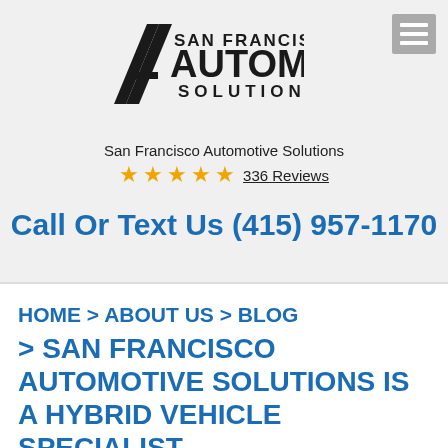[Figure (logo): San Francisco Automotive Solutions logo with stylized A and text]
San Francisco Automotive Solutions
★★★★★ 336 Reviews
Call Or Text Us (415) 957-1170
HOME > ABOUT US > BLOG > SAN FRANCISCO AUTOMOTIVE SOLUTIONS IS A HYBRID VEHICLE SPECIALIST